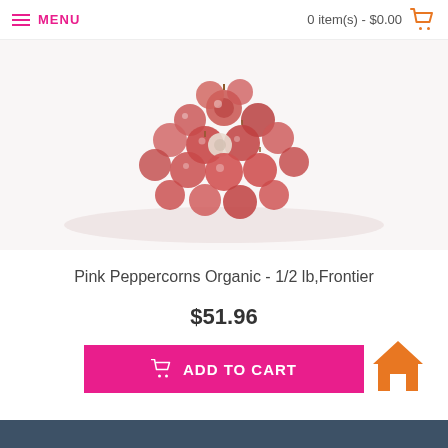MENU   0 item(s) - $0.00
[Figure (photo): Pile of pink peppercorns on white background]
Pink Peppercorns Organic - 1/2 lb,Frontier
$51.96
ADD TO CART
[Figure (illustration): Orange home icon]